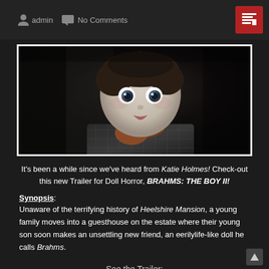admin   No Comments
[Figure (photo): A porcelain boy doll with pale face, dark hair, glass eyes and a scarf, photographed in dark moody lighting – movie still from BRAHMS: THE BOY II]
It's been a while since we've heard from Katie Holmes! Check-out this new Trailer for Doll Horror, BRAHMS: THE BOY II!
Synopsis:
Unaware of the terrifying history of Heelshire Mansion, a young family moves into a guesthouse on the estate where their young son soon makes an unsettling new friend, an eerilylife-like doll he calls Brahms.
See the Trailer: